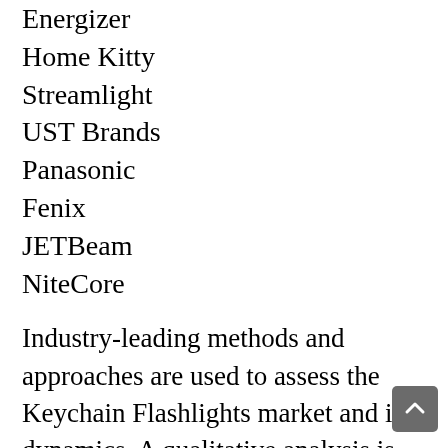Energizer
Home Kitty
Streamlight
UST Brands
Panasonic
Fenix
JETBeam
NiteCore
Industry-leading methods and approaches are used to assess the Keychain Flashlights market and its dynamics. A qualitative analysis is an important part of the research process as well. Future reforms are expected to cause significant changes in the Keychain Flashlights market. Market participants must be prepared for these shifts. The research assists both new and established businesses in identifying it…